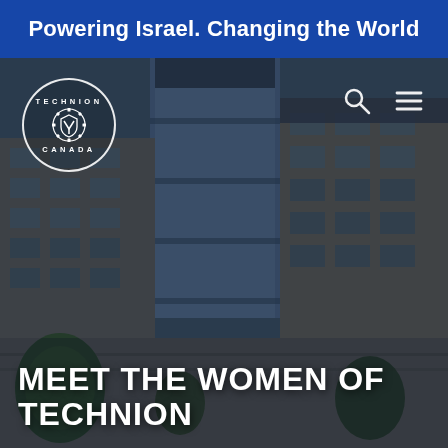Powering Israel. Changing the World
[Figure (photo): Aerial/street-level view of Technion university campus buildings — modern multi-story glass and concrete structures, trees in foreground, overlaid with semi-transparent dark blue tint. Technion Canada logo (circular badge with gear and shield emblem, text TECHNION top and CANADA bottom) in upper left. Search icon and hamburger menu icon in upper right.]
MEET THE WOMEN OF TECHNION